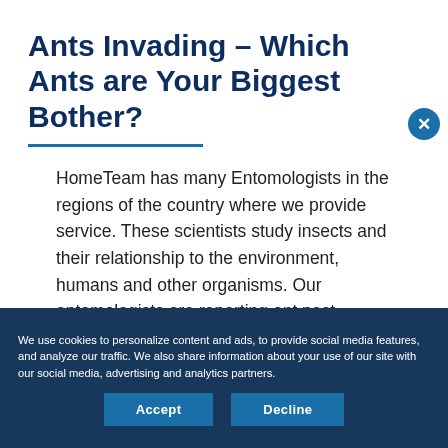Ants Invading – Which Ants are Your Biggest Bother?
HomeTeam has many Entomologists in the regions of the country where we provide service. These scientists study insects and their relationship to the environment, humans and other organisms. Our entomologists are reporting ant pest pressure is high in all regions.
We use cookies to personalize content and ads, to provide social media features, and analyze our traffic. We also share information about your use of our site with our social media, advertising and analytics partners.